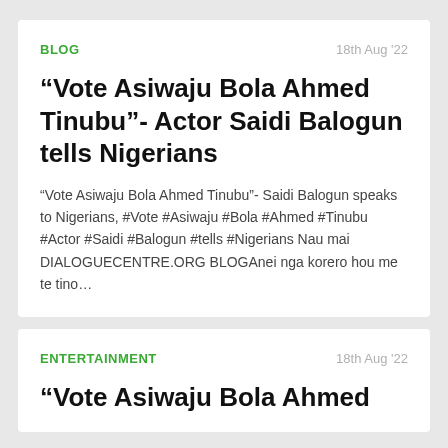BLOG
18th Aug '22
“Vote Asiwaju Bola Ahmed Tinubu”- Actor Saidi Balogun tells Nigerians
“Vote Asiwaju Bola Ahmed Tinubu”- Saidi Balogun speaks to Nigerians, #Vote #Asiwaju #Bola #Ahmed #Tinubu #Actor #Saidi #Balogun #tells #Nigerians Nau mai DIALOGUECENTRE.ORG BLOGAnei nga korero hou me te tino…
ENTERTAINMENT
18th Aug '22
“Vote Asiwaju Bola Ahmed